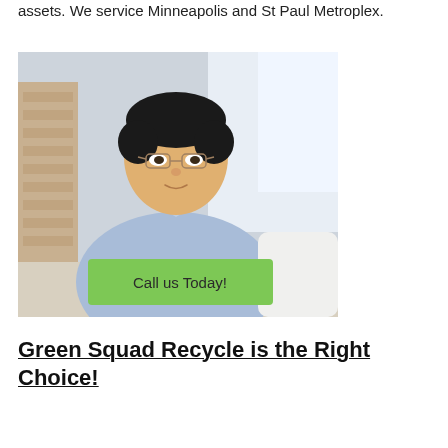assets. We service Minneapolis and St Paul Metroplex.
[Figure (photo): Professional headshot of a man wearing glasses and a light blue shirt, seated in an office/studio setting with windows and a brick column in the background. A green button labeled 'Call us Today!' overlays the bottom of the image.]
Green Squad Recycle is the Right Choice!